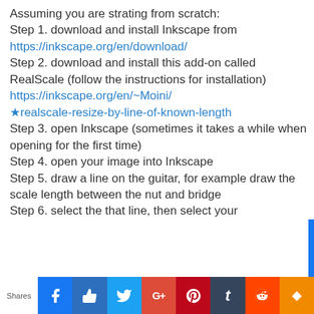Assuming you are strating from scratch: Step 1. download and install Inkscape from https://inkscape.org/en/download/ Step 2. download and install this add-on called RealScale (follow the instructions for installation) https://inkscape.org/en/~Moini/★realscale-resize-by-line-of-known-length Step 3. open Inkscape (sometimes it takes a while when opening for the first time) Step 4. open your image into Inkscape Step 5. draw a line on the guitar, for example draw the scale length between the nut and bridge Step 6. select the that line, then select your
Shares | f | 👍 | 🐦 | G+ | P | t | reddit | w